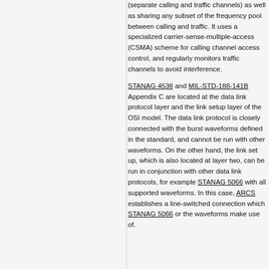(separate calling and traffic channels) as well as sharing any subset of the frequency pool between calling and traffic. It uses a specialized carrier-sense-multiple-access (CSMA) scheme for calling channel access control, and regularly monitors traffic channels to avoid interference.
STANAG 4538 and MIL-STD-188-141B Appendix C are located at the data link protocol layer and the link setup layer of the OSI model. The data link protocol is closely connected with the burst waveforms defined in the standard, and cannot be run with other waveforms. On the other hand, the link set up, which is also located at layer two, can be run in conjunction with other data link protocols, for example STANAG 5066 with all supported waveforms. In this case, ARCS establishes a line-switched connection which STANAG 5066 or the waveforms make use of.